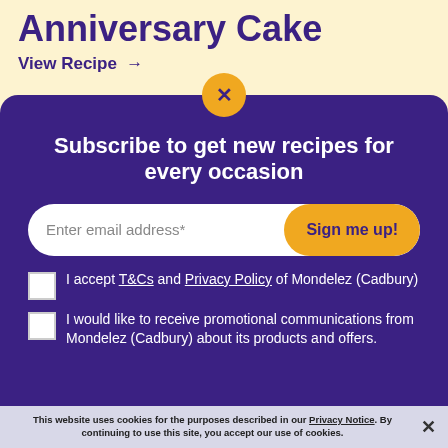Anniversary Cake
View Recipe →
Subscribe to get new recipes for every occasion
Enter email address*
Sign me up!
I accept T&Cs and Privacy Policy of Mondelez (Cadbury)
I would like to receive promotional communications from Mondelez (Cadbury) about its products and offers.
This website uses cookies for the purposes described in our Privacy Notice. By continuing to use this site, you accept our use of cookies.